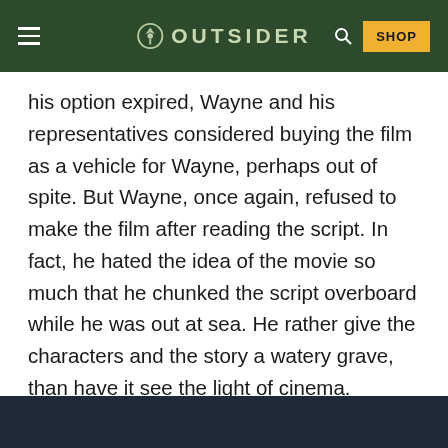OUTSIDER
his option expired, Wayne and his representatives considered buying the film as a vehicle for Wayne, perhaps out of spite. But Wayne, once again, refused to make the film after reading the script. In fact, he hated the idea of the movie so much that he chunked the script overboard while he was out at sea. He rather give the characters and the story a watery grave, than have it see the light of cinema.